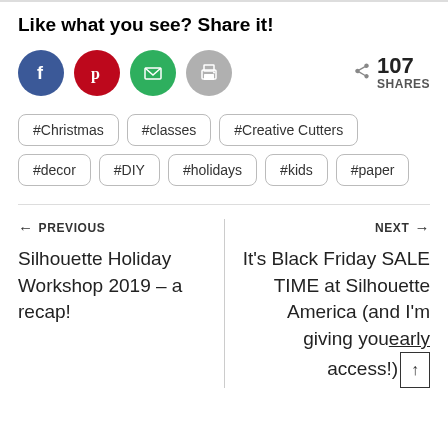Like what you see? Share it!
[Figure (infographic): Social share buttons: Facebook (blue circle with f), Pinterest (red circle with p), Email (green circle with envelope), Print (grey circle with printer). Share count showing 107 SHARES.]
#Christmas
#classes
#Creative Cutters
#decor
#DIY
#holidays
#kids
#paper
← PREVIOUS
Silhouette Holiday Workshop 2019 – a recap!
NEXT →
It's Black Friday SALE TIME at Silhouette America (and I'm giving you early access!)